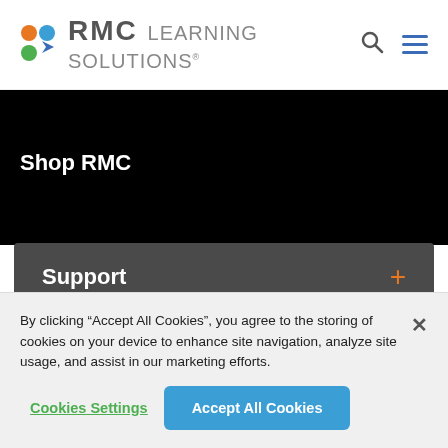[Figure (logo): RMC Learning Solutions logo with colored dots (orange, blue, green) and company name]
Shop RMC
Support +
By clicking “Accept All Cookies”, you agree to the storing of cookies on your device to enhance site navigation, analyze site usage, and assist in our marketing efforts.
Cookies Settings
Accept All Cookies